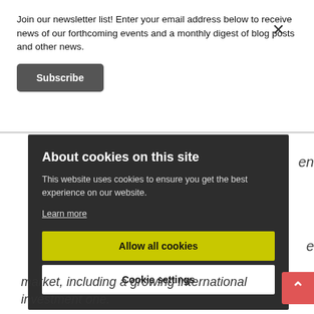Join our newsletter list! Enter your email address below to receive news of our forthcoming events and a monthly digest of blog posts and other news.
Subscribe
About cookies on this site
This website uses cookies to ensure you get the best experience on our website.
Learn more
Allow all cookies
Cookie settings
market, including a growing international investment one.